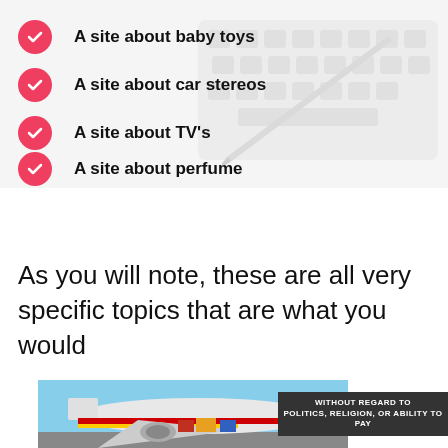A site about baby toys
A site about car stereos
A site about TV's
A site about perfume
As you will note, these are all very specific topics that are what you would
[Figure (photo): Cargo airplane being loaded on tarmac with airline livery visible, with a dark overlay banner reading 'WITHOUT REGARD TO POLITICS, RELIGION, OR ABILITY TO PAY']